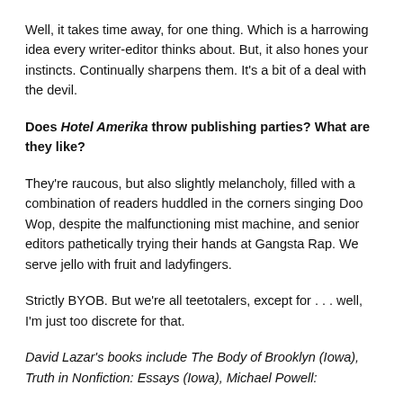Well, it takes time away, for one thing. Which is a harrowing idea every writer-editor thinks about. But, it also hones your instincts. Continually sharpens them. It’s a bit of a deal with the devil.
Does Hotel Amerika throw publishing parties? What are they like?
They’re raucous, but also slightly melancholy, filled with a combination of readers huddled in the corners singing Doo Wop, despite the malfunctioning mist machine, and senior editors pathetically trying their hands at Gangsta Rap. We serve jello with fruit and ladyfingers.
Strictly BYOB. But we’re all teetotalers, except for . . . well, I’m just too discrete for that.
David Lazar’s books include The Body of Brooklyn (Iowa), Truth in Nonfiction: Essays (Iowa), Michael Powell: